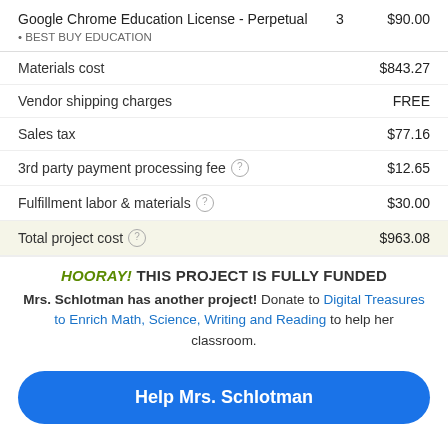| Item | Qty | Price |
| --- | --- | --- |
| Google Chrome Education License - Perpetual
• BEST BUY EDUCATION | 3 | $90.00 |
| Description | Amount |
| --- | --- |
| Materials cost | $843.27 |
| Vendor shipping charges | FREE |
| Sales tax | $77.16 |
| 3rd party payment processing fee | $12.65 |
| Fulfillment labor & materials | $30.00 |
| Total project cost | $963.08 |
HOORAY! THIS PROJECT IS FULLY FUNDED
Mrs. Schlotman has another project! Donate to Digital Treasures to Enrich Math, Science, Writing and Reading to help her classroom.
Help Mrs. Schlotman